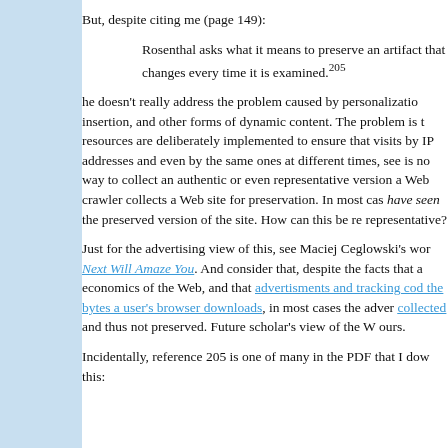But, despite citing me (page 149):
Rosenthal asks what it means to preserve an artifact that changes every time it is examined.205
he doesn't really address the problem caused by personalization, ad insertion, and other forms of dynamic content. The problem is that these resources are deliberately implemented to ensure that visits by different IP addresses and even by the same ones at different times, see ... there is no way to collect an authentic or even representative version of what a Web crawler collects a Web site for preservation. In most cases, no one have seen the preserved version of the site. How can this be representative?
Just for the advertising view of this, see Maciej Ceglowski's work, What Next Will Amaze You. And consider that, despite the facts that advertising economics of the Web, and that advertisments and tracking code dominate the bytes a user's browser downloads, in most cases the adver... are not collected and thus not preserved. Future scholar's view of the W... ours.
Incidentally, reference 205 is one of many in the PDF that I dow... this: